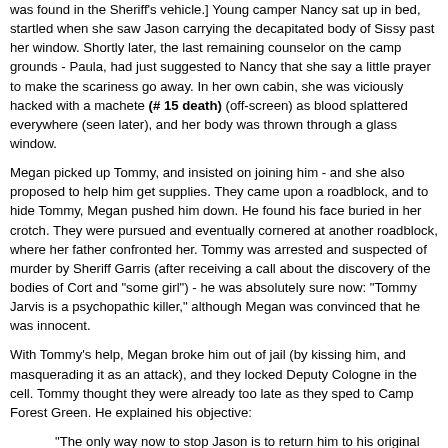was found in the Sheriff's vehicle.] Young camper Nancy sat up in bed, startled when she saw Jason carrying the decapitated body of Sissy past her window. Shortly later, the last remaining counselor on the camp grounds - Paula, had just suggested to Nancy that she say a little prayer to make the scariness go away. In her own cabin, she was viciously hacked with a machete (# 15 death) (off-screen) as blood splattered everywhere (seen later), and her body was thrown through a glass window.
Megan picked up Tommy, and insisted on joining him - and she also proposed to help him get supplies. They came upon a roadblock, and to hide Tommy, Megan pushed him down. He found his face buried in her crotch. They were pursued and eventually cornered at another roadblock, where her father confronted her. Tommy was arrested and suspected of murder by Sheriff Garris (after receiving a call about the discovery of the bodies of Cort and "some girl") - he was absolutely sure now: "Tommy Jarvis is a psychopathic killer," although Megan was convinced that he was innocent.
With Tommy's help, Megan broke him out of jail (by kissing him, and masquerading it as an attack), and they locked Deputy Cologne in the cell. Tommy thought they were already too late as they sped to Camp Forest Green. He explained his objective:
"The only way now to stop Jason is to return him to his original resting place where he drowned in 1957...Crystal Lake, where this nightmare began."